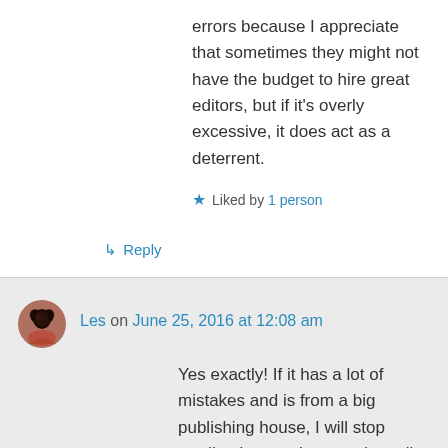errors because I appreciate that sometimes they might not have the budget to hire great editors, but if it's overly excessive, it does act as a deterrent.
★ Liked by 1 person
↳ Reply
Les on June 25, 2016 at 12:08 am
Yes exactly! If it has a lot of mistakes and is from a big publishing house, I will stop reading it sometimes and email them. I have been known to email authors as well. Lol
↳ Reply